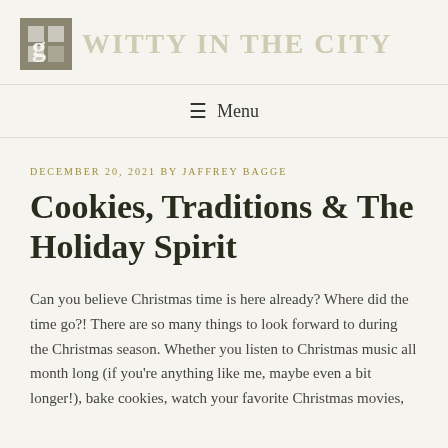[Figure (logo): Website logo with icon and stylized text]
≡ Menu
DECEMBER 20, 2021 BY JAFFREY BAGGE
Cookies, Traditions & The Holiday Spirit
Can you believe Christmas time is here already? Where did the time go?! There are so many things to look forward to during the Christmas season. Whether you listen to Christmas music all month long (if you're anything like me, maybe even a bit longer!), bake cookies, watch your favorite Christmas movies,